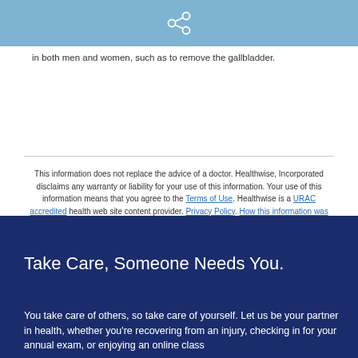[share icon]
in both men and women, such as to remove the gallbladder.
This information does not replace the advice of a doctor. Healthwise, Incorporated disclaims any warranty or liability for your use of this information. Your use of this information means that you agree to the Terms of Use. Healthwise is a URAC accredited health web site content provider. Privacy Policy. How this information was developed to help you make better health decisions.
© 1995-2015 Healthwise, Incorporated. Healthwise, Healthwise for every health decision, and the Healthwise logo are trademarks of Healthwise, Incorporated.
Take Care, Someone Needs You.
You take care of others, so take care of yourself. Let us be your partner in health, whether you're recovering from an injury, checking in for your annual exam, or enjoying an online class